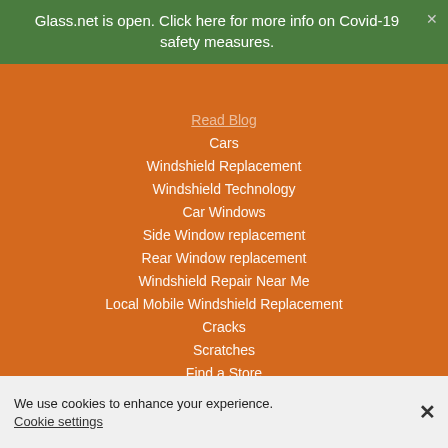Glass.net is open. Click here for more info on Covid-19 safety measures.
Read Blog
Cars
Windshield Replacement
Windshield Technology
Car Windows
Side Window replacement
Rear Window replacement
Windshield Repair Near Me
Local Mobile Windshield Replacement
Cracks
Scratches
Find a Store
New York
Maine
South Carolina
We use cookies to enhance your experience. Cookie settings